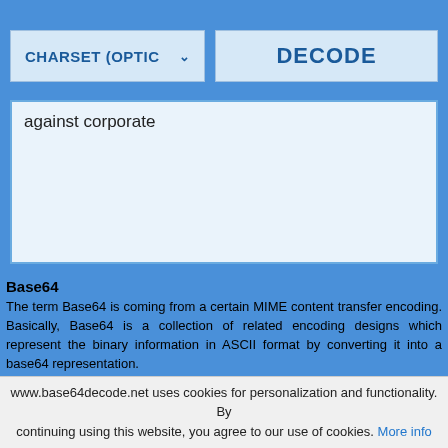[Figure (screenshot): Top portion of a web-based Base64 decode tool interface showing a charset dropdown and decode button]
against corporate
Base64
The term Base64 is coming from a certain MIME content transfer encoding. Basically, Base64 is a collection of related encoding designs which represent the binary information in ASCII format by converting it into a base64 representation.
www.base64decode.net uses cookies for personalization and functionality. By continuing using this website, you agree to our use of cookies. More info